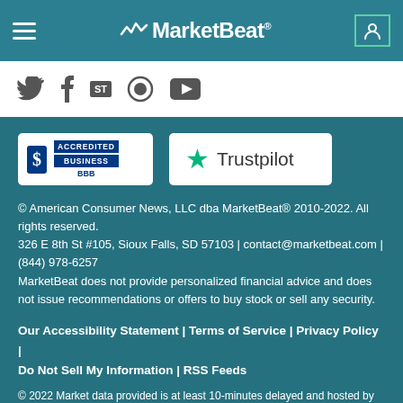MarketBeat
[Figure (logo): Social media icons: Twitter, Facebook, StockTwits, Periscope, YouTube]
[Figure (logo): BBB Accredited Business badge]
[Figure (logo): Trustpilot badge]
© American Consumer News, LLC dba MarketBeat® 2010-2022. All rights reserved.
326 E 8th St #105, Sioux Falls, SD 57103 | contact@marketbeat.com | (844) 978-6257
MarketBeat does not provide personalized financial advice and does not issue recommendations or offers to buy stock or sell any security.
Our Accessibility Statement | Terms of Service | Privacy Policy | Do Not Sell My Information | RSS Feeds
© 2022 Market data provided is at least 10-minutes delayed and hosted by